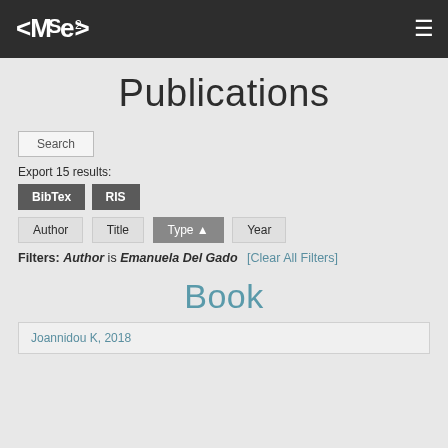<MSe> logo and hamburger menu
Publications
Search
Export 15 results:
BibTex  RIS
Author  Title  Type  Year
Filters: Author is Emanuela Del Gado [Clear All Filters]
Book
Joannidou K, 2018